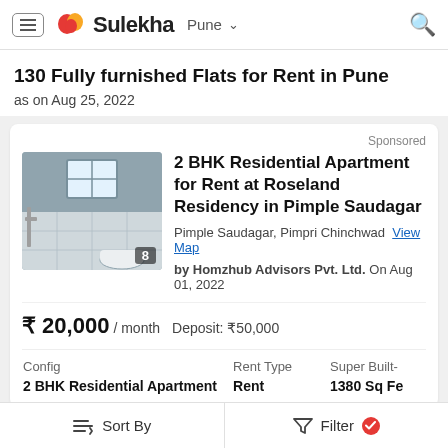Sulekha | Pune
130 Fully furnished Flats for Rent in Pune
as on Aug 25, 2022
Sponsored
[Figure (photo): Bathroom interior photo of the apartment, with image count badge showing 8]
2 BHK Residential Apartment for Rent at Roseland Residency in Pimple Saudagar
Pimple Saudagar, Pimpri Chinchwad   View Map
by Homzhub Advisors Pvt. Ltd. On Aug 01, 2022
₹ 20,000 / month   Deposit: ₹50,000
| Config | Rent Type | Super Built-up |
| --- | --- | --- |
| 2 BHK Residential Apartment | Rent | 1380 Sq Fe |
Sort By   Filter